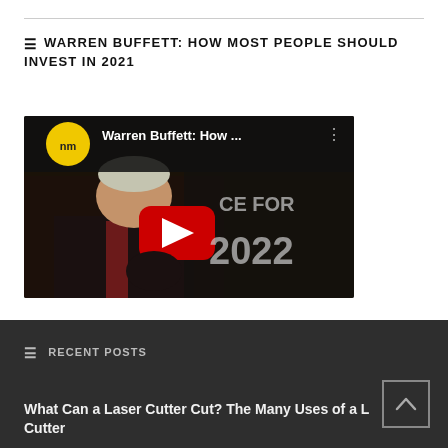WARREN BUFFETT: HOW MOST PEOPLE SHOULD INVEST IN 2021
[Figure (screenshot): YouTube video thumbnail showing Warren Buffett with title 'Warren Buffett: How ...' and text 'CE FOR 2022' visible, with YouTube play button overlay and channel logo 'nm' in yellow circle]
RECENT POSTS
What Can a Laser Cutter Cut? The Many Uses of a Laser Cutter